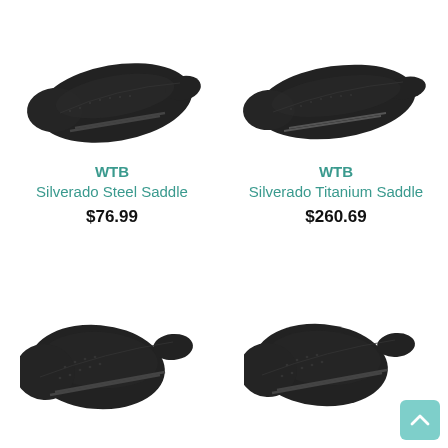[Figure (photo): Black WTB Silverado Steel bicycle saddle, side/top view on white background]
[Figure (photo): Black WTB Silverado Titanium bicycle saddle, side/top view on white background]
WTB
Silverado Steel Saddle
$76.99
WTB
Silverado Titanium Saddle
$260.69
[Figure (photo): Black WTB bicycle saddle, front/top angled view on white background]
[Figure (photo): Black WTB bicycle saddle, front/top angled view on white background]